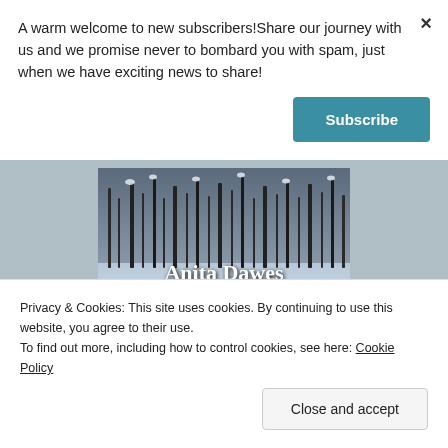A warm welcome to new subscribers!Share our journey with us and we promise never to bombard you with spam, just when we have exciting news to share!
Subscribe
[Figure (photo): Winter scene with snow-covered grasses and plants, with 'Anita Dawes' text overlaid in white serif font]
of his family.
Privacy & Cookies: This site uses cookies. By continuing to use this website, you agree to their use.
To find out more, including how to control cookies, see here: Cookie Policy
Close and accept